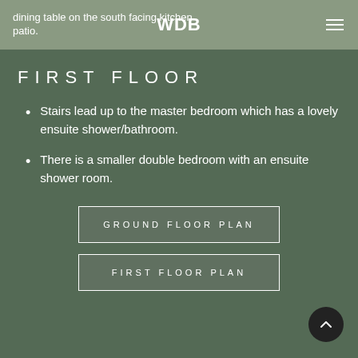dining table on the south facing kitchen patio.  WDB  ☰
FIRST FLOOR
Stairs lead up to the master bedroom which has a lovely ensuite shower/bathroom.
There is a smaller double bedroom with an ensuite shower room.
GROUND FLOOR PLAN
FIRST FLOOR PLAN